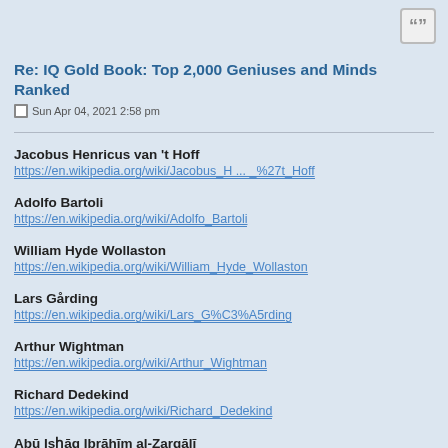Re: IQ Gold Book: Top 2,000 Geniuses and Minds Ranked
Sun Apr 04, 2021 2:58 pm
Jacobus Henricus van 't Hoff
https://en.wikipedia.org/wiki/Jacobus_H ... _%27t_Hoff
Adolfo Bartoli
https://en.wikipedia.org/wiki/Adolfo_Bartoli
William Hyde Wollaston
https://en.wikipedia.org/wiki/William_Hyde_Wollaston
Lars Gårding
https://en.wikipedia.org/wiki/Lars_G%C3%A5rding
Arthur Wightman
https://en.wikipedia.org/wiki/Arthur_Wightman
Richard Dedekind
https://en.wikipedia.org/wiki/Richard_Dedekind
Abū Isḥaq Ibrāhīm al-Zarqālī
https://en.wikipedia.org/wiki/Ab%C5%AB ... %81%C4%AB